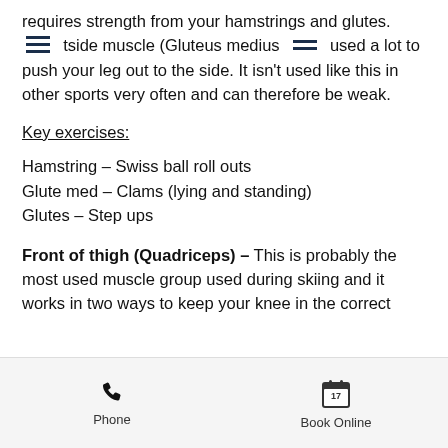requires strength from your hamstrings and glutes. [menu icon] tside muscle (Gluteus medius [menu icon] used a lot to push your leg out to the side. It isn't used like this in other sports very often and can therefore be weak.
Key exercises:
Hamstring – Swiss ball roll outs
Glute med – Clams (lying and standing)
Glutes – Step ups
Front of thigh (Quadriceps) – This is probably the most used muscle group used during skiing and it works in two ways to keep your knee in the correct
Phone   Book Online